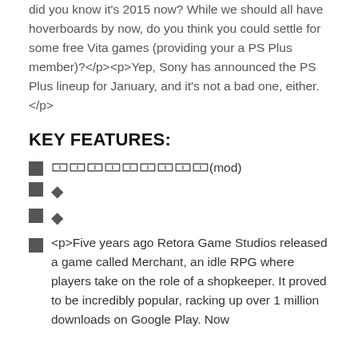did you know it's 2015 now? While we should all have hoverboards by now, do you think you could settle for some free Vita games (providing your a PS Plus member)?</p><p>Yep, Sony has announced the PS Plus lineup for January, and it's not a bad one, either.</p>
KEY FEATURES:
🀱🀱🀱🀱🀱🀱🀱🀱🀱(mod)
◆
◆
<p>Five years ago Retora Game Studios released a game called Merchant, an idle RPG where players take on the role of a shopkeeper. It proved to be incredibly popular, racking up over 1 million downloads on Google Play. Now